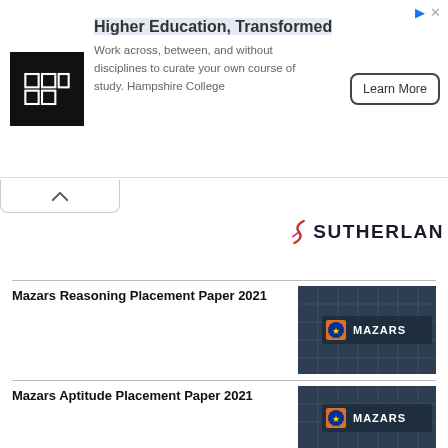[Figure (infographic): Advertisement banner: Hampshire College logo (black square with grid icon), heading 'Higher Education, Transformed', body text 'Work across, between, and without disciplines to curate your own course of study. Hampshire College', and a 'Learn More' button. Small ad icons top right.]
[Figure (logo): Sutherland logo: stylized S mark in red/pink followed by bold text 'SUTHERLAN' (partially visible)]
Mazars Reasoning Placement Paper 2021
[Figure (photo): Photo of Mazars building facade with MAZARS signage and logo]
Mazars Aptitude Placement Paper 2021
[Figure (photo): Photo of Mazars building facade with MAZARS signage and logo]